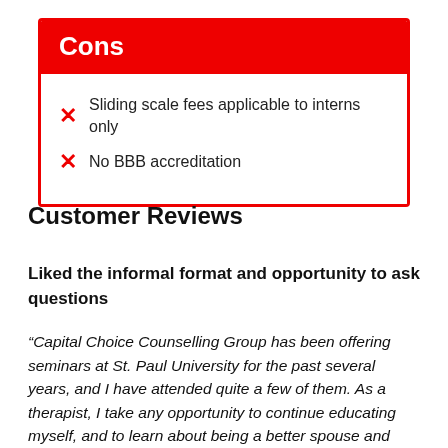Cons
Sliding scale fees applicable to interns only
No BBB accreditation
Customer Reviews
Liked the informal format and opportunity to ask questions
“Capital Choice Counselling Group has been offering seminars at St. Paul University for the past several years, and I have attended quite a few of them. As a therapist, I take any opportunity to continue educating myself, and to learn about being a better spouse and mother. The topics have been varied over the years, but the focus remains on